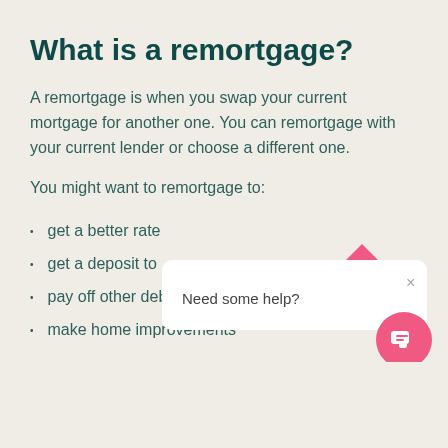What is a remortgage?
A remortgage is when you swap your current mortgage for another one. You can remortgage with your current lender or choose a different one.
You might want to remortgage to:
get a better rate
get a deposit to
pay off other debts
make home improvements
[Figure (screenshot): Chat widget overlay with speech bubble showing 'Need some help?' text, a close (×) button, and a pink circular chat button icon in the bottom right corner.]